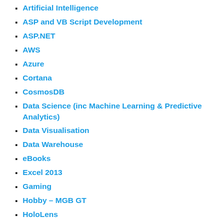Artificial Intelligence
ASP and VB Script Development
ASP.NET
AWS
Azure
Cortana
CosmosDB
Data Science (inc Machine Learning & Predictive Analytics)
Data Visualisation
Data Warehouse
eBooks
Excel 2013
Gaming
Hobby – MGB GT
HoloLens
Java
MEAN
Microsoft
Microsoft .NET Development
Microsoft Office Development